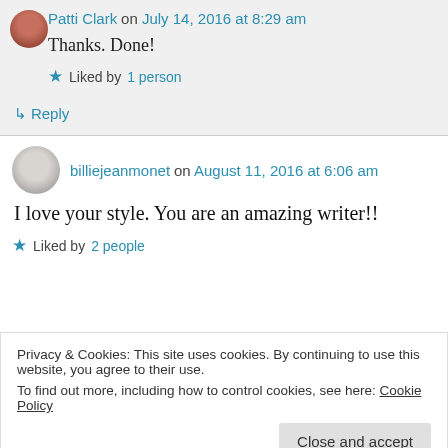Patti Clark on July 14, 2016 at 8:29 am
Thanks. Done!
Liked by 1 person
↳ Reply
billiejeanmonet on August 11, 2016 at 6:06 am
I love your style. You are an amazing writer!!
Liked by 2 people
Privacy & Cookies: This site uses cookies. By continuing to use this website, you agree to their use. To find out more, including how to control cookies, see here: Cookie Policy
Close and accept
Thanks Tasha! I appreciate your